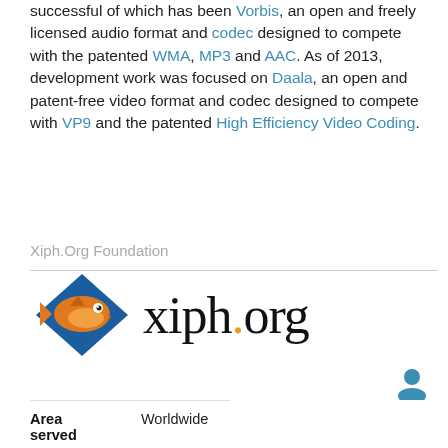successful of which has been Vorbis, an open and freely licensed audio format and codec designed to compete with the patented WMA, MP3 and AAC. As of 2013, development work was focused on Daala, an open and patent-free video format and codec designed to compete with VP9 and the patented High Efficiency Video Coding.
Xiph.Org Foundation
[Figure (logo): Xiph.org logo: an orange fish on a blue diamond shape, beside the text 'xiph.org' in serif font with an orange dot]
| Founded | 1994; 28 years ago |
| Founder | Christopher Montgomery |
| Type | 501(c)(3) |
| Location | Somerville, Massachusetts  U.S. |
| Area served | Worldwide |